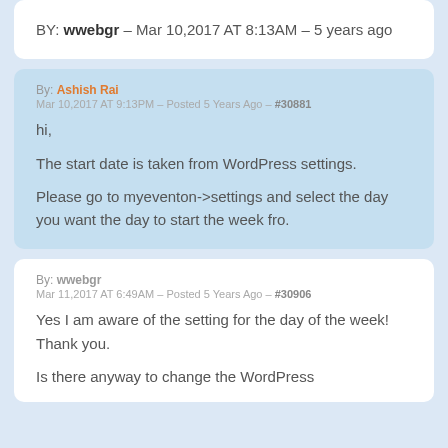BY: wwebgr – Mar 10,2017 AT 8:13AM – 5 years ago
By: Ashish Rai
Mar 10,2017 AT 9:13PM – Posted 5 Years Ago – #30881
hi,
The start date is taken from WordPress settings.
Please go to myeventon->settings and select the day you want the day to start the week fro.
By: wwebgr
Mar 11,2017 AT 6:49AM – Posted 5 Years Ago – #30906
Yes I am aware of the setting for the day of the week! Thank you.
Is there anyway to change the WordPress